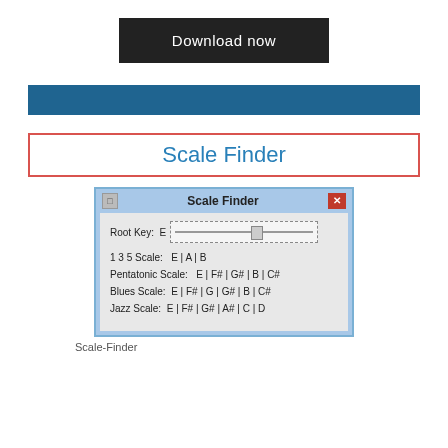[Figure (screenshot): Download now button — dark/black rectangular button with white text]
[Figure (screenshot): Blue horizontal bar/divider]
Scale Finder
[Figure (screenshot): Scale Finder application window showing Root Key: E with slider, and scale information: 1 3 5 Scale: E | A | B, Pentatonic Scale: E | F# | G# | B | C#, Blues Scale: E | F# | G | G# | B | C#, Jazz Scale: E | F# | G# | A# | C | D]
Scale-Finder